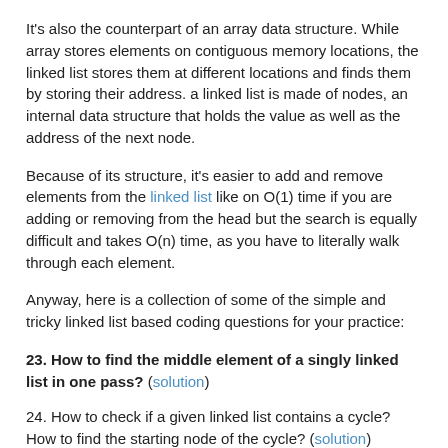It's also the counterpart of an array data structure. While array stores elements on contiguous memory locations, the linked list stores them at different locations and finds them by storing their address. a linked list is made of nodes, an internal data structure that holds the value as well as the address of the next node.
Because of its structure, it's easier to add and remove elements from the linked list like on O(1) time if you are adding or removing from the head but the search is equally difficult and takes O(n) time, as you have to literally walk through each element.
Anyway, here is a collection of some of the simple and tricky linked list based coding questions for your practice:
23. How to find the middle element of a singly linked list in one pass? (solution)
24. How to check if a given linked list contains a cycle? How to find the starting node of the cycle? (solution)